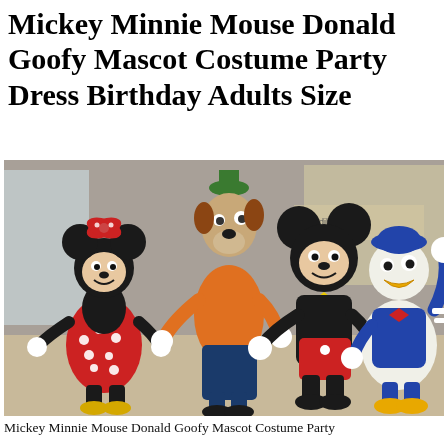Mickey Minnie Mouse Donald Goofy Mascot Costume Party Dress Birthday Adults Size
[Figure (photo): Four Disney character mascot costumes posing together indoors: Minnie Mouse in red polka-dot dress, Goofy in orange shirt and green hat, Mickey Mouse in black outfit with red shorts and yellow bow tie, and Donald Duck in blue sailor outfit with red bow, waving. They are standing on a tiled floor with a modern interior background.]
Mickey Minnie Mouse Donald Goofy Mascot Costume Party